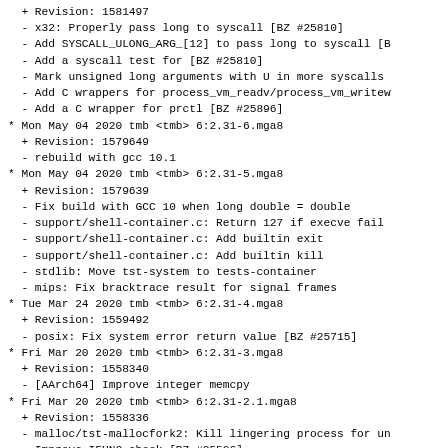+ Revision: 1581497
- x32: Properly pass long to syscall [BZ #25810]
- Add SYSCALL_ULONG_ARG_[12] to pass long to syscall [B
- Add a syscall test for [BZ #25810]
- Mark unsigned long arguments with U in more syscalls
- Add C wrappers for process_vm_readv/process_vm_writev
- Add a C wrapper for prctl [BZ #25896]
* Mon May 04 2020 tmb <tmb> 6:2.31-6.mga8
+ Revision: 1579649
- rebuild with gcc 10.1
* Mon May 04 2020 tmb <tmb> 6:2.31-5.mga8
+ Revision: 1579639
- Fix build with GCC 10 when long double = double
- support/shell-container.c: Return 127 if execve fail
- support/shell-container.c: Add builtin exit
- support/shell-container.c: Add builtin kill
- stdlib: Move tst-system to tests-container
- mips: Fix bracktrace result for signal frames
* Tue Mar 24 2020 tmb <tmb> 6:2.31-4.mga8
+ Revision: 1559492
- posix: Fix system error return value [BZ #25715]
* Fri Mar 20 2020 tmb <tmb> 6:2.31-3.mga8
+ Revision: 1558340
- [AArch64] Improve integer memcpy
* Fri Mar 20 2020 tmb <tmb> 6:2.31-2.1.mga8
+ Revision: 1558336
- malloc/tst-mallocfork2: Kill lingering process for un
- Improve IFUNC check [BZ #25506]
- i386: Use comdat instead of .gnu.linkonce for i386 se
[BZ #20543]